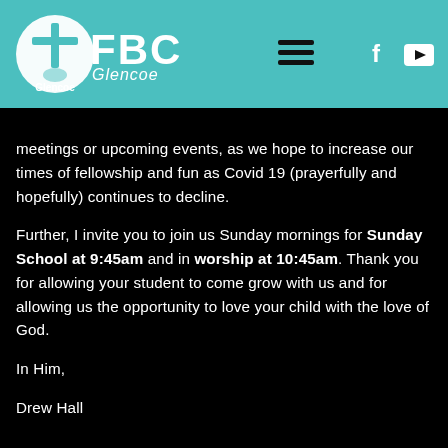[Figure (logo): FBC Glencoe church logo — white circle with cross and fish symbol, text 'FBC Glencoe' in white on teal header background]
meetings or upcoming events, as we hope to increase our times of fellowship and fun as Covid 19 (prayerfully and hopefully) continues to decline.

Further, I invite you to join us Sunday mornings for Sunday School at 9:45am and in worship at 10:45am. Thank you for allowing your student to come grow with us and for allowing us the opportunity to love your child with the love of God.

In Him,

Drew Hall